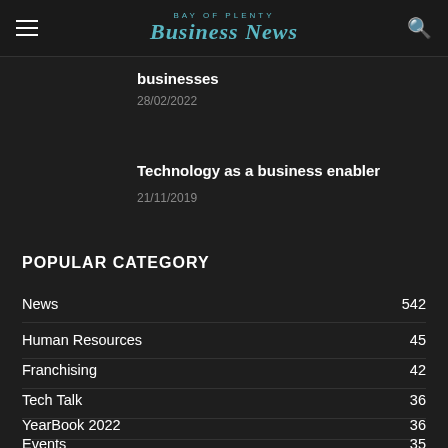Bay of Plenty Business News
businesses
28/02/2022
Technology as a business enabler
21/11/2019
POPULAR CATEGORY
News 542
Human Resources 45
Franchising 42
Tech Talk 36
YearBook 2022 36
Events 35